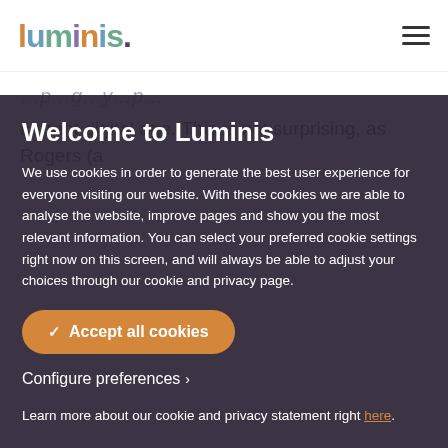luminis.
...p...g...y...p...
current digital age. This is not surprising, as Rogers (a
Welcome to Luminis
We use cookies in order to generate the best user experience for everyone visiting our website. With these cookies we are able to analyse the website, improve pages and show you the most relevant information. You can select your preferred cookie settings right now on this screen, and will always be able to adjust your choices through our cookie and privacy page.
Accept all cookies
Configure preferences
Learn more about our cookie and privacy statement right here.